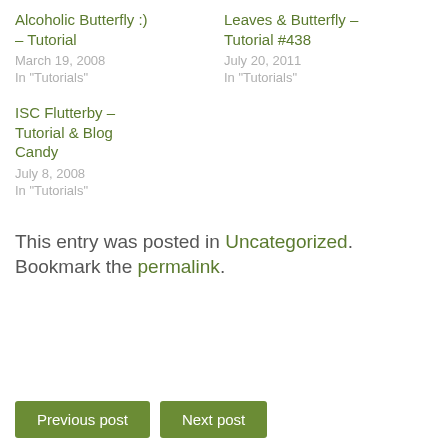Alcoholic Butterfly :) – Tutorial
March 19, 2008
In "Tutorials"
Leaves & Butterfly – Tutorial #438
July 20, 2011
In "Tutorials"
ISC Flutterby – Tutorial & Blog Candy
July 8, 2008
In "Tutorials"
This entry was posted in Uncategorized. Bookmark the permalink.
Previous post
Next post